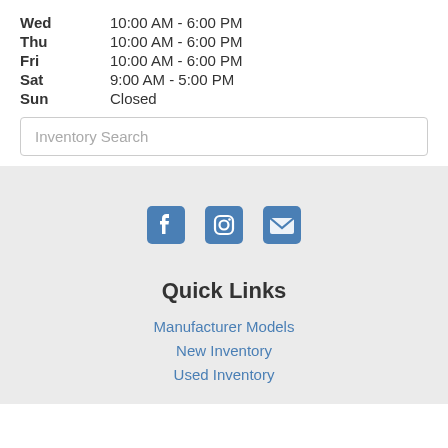Wed   10:00 AM - 6:00 PM
Thu   10:00 AM - 6:00 PM
Fri   10:00 AM - 6:00 PM
Sat   9:00 AM - 5:00 PM
Sun   Closed
Inventory Search
[Figure (illustration): Social media icons: Facebook, Instagram, Email]
Quick Links
Manufacturer Models
New Inventory
Used Inventory